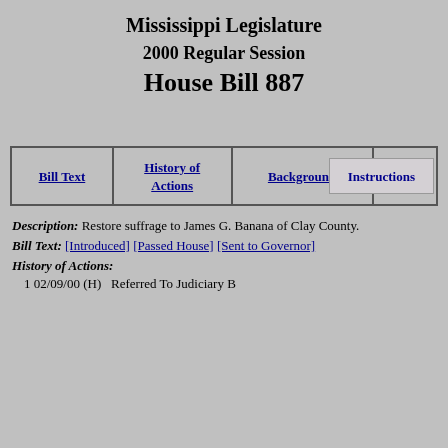Mississippi Legislature
2000 Regular Session
House Bill 887
Instructions
| Bill Text | History of Actions | Background | Title |
| --- | --- | --- | --- |
Description: Restore suffrage to James G. Banana of Clay County.
Bill Text: [Introduced] [Passed House] [Sent to Governor]
History of Actions:
1 02/09/00 (H)   Referred To Judiciary B